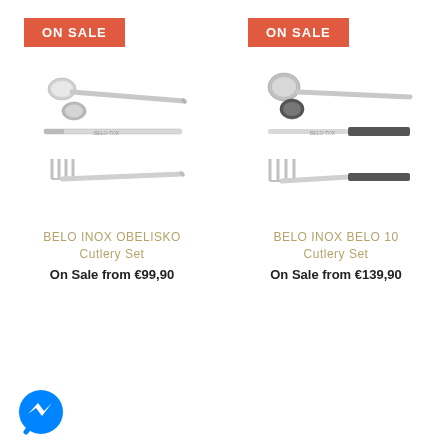[Figure (photo): ON SALE badge (coral/red background, white text) for left product]
[Figure (photo): Product photo of BELO INOX OBELISKO cutlery set — spoon, knife, fork arranged horizontally]
BELO INOX OBELISKO
Cutlery Set
On Sale from €99,90
[Figure (photo): ON SALE badge (coral/red background, white text) for right product]
[Figure (photo): Product photo of BELO INOX BELO 10 cutlery set — spoon, knife, fork arranged horizontally with dark handles]
BELO INOX BELO 10
Cutlery Set
On Sale from €139,90
[Figure (illustration): Facebook Messenger chat button icon (blue circle with white lightning bolt)]